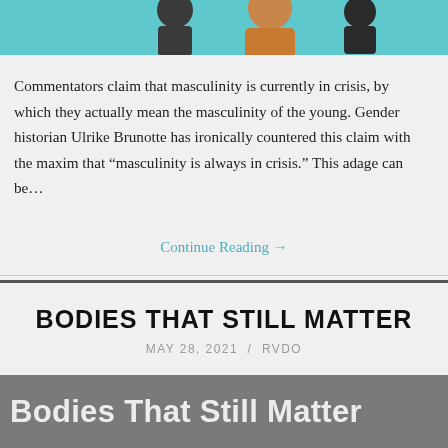[Figure (illustration): Teal/turquoise background illustration strip showing stylized figures, partially cropped at top of page]
Commentators claim that masculinity is currently in crisis, by which they actually mean the masculinity of the young. Gender historian Ulrike Brunotte has ironically countered this claim with the maxim that “masculinity is always in crisis.” This adage can be…
Continue Reading →
BODIES THAT STILL MATTER
MAY 28, 2021 / RVDO
[Figure (illustration): Gray background image strip with white bold text reading 'Bodies That Still Matter', partially cropped at bottom of page]